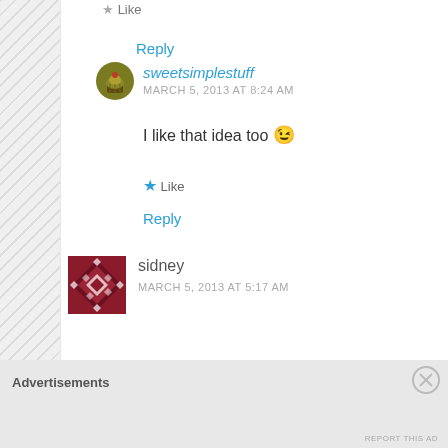Like
Reply
sweetsimplestuff
MARCH 5, 2013 AT 8:24 AM
I like that idea too 😉
Like
Reply
[Figure (illustration): Circular avatar with cupcake icon on olive/dark yellow background]
sidney
MARCH 5, 2013 AT 5:17 AM
[Figure (illustration): Square avatar with dark red/maroon geometric diamond pattern on dark red background]
Advertisements
REPORT THIS AD